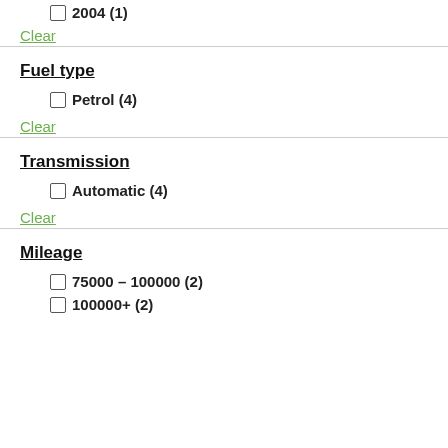2004 (1)
Clear
Fuel type
Petrol (4)
Clear
Transmission
Automatic (4)
Clear
Mileage
75000 – 100000 (2)
100000+ (2)